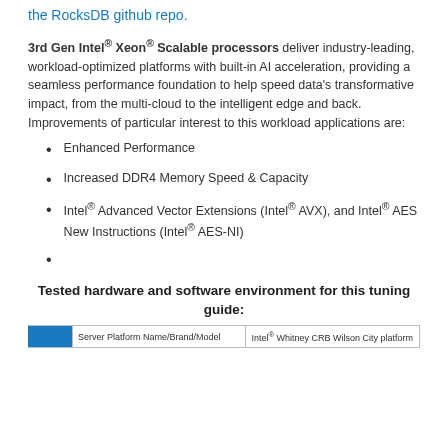the RocksDB github repo.
3rd Gen Intel® Xeon® Scalable processors deliver industry-leading, workload-optimized platforms with built-in AI acceleration, providing a seamless performance foundation to help speed data's transformative impact, from the multi-cloud to the intelligent edge and back. Improvements of particular interest to this workload applications are:
Enhanced Performance
Increased DDR4 Memory Speed & Capacity
Intel® Advanced Vector Extensions (Intel® AVX), and Intel® AES New Instructions (Intel® AES-NI)
Tested hardware and software environment for this tuning guide:
|  | Server Platform Name/Brand/Model | Intel® Whitney CRB Wilson City platform |
| --- | --- | --- |